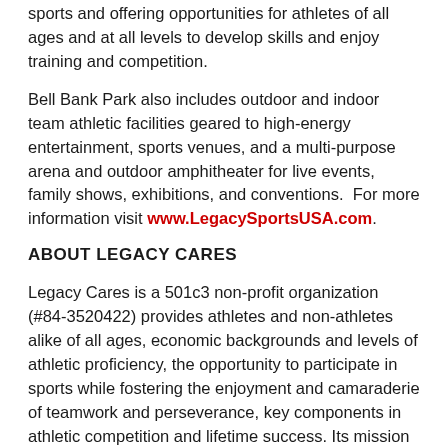sports and offering opportunities for athletes of all ages and at all levels to develop skills and enjoy training and competition.
Bell Bank Park also includes outdoor and indoor team athletic facilities geared to high-energy entertainment, sports venues, and a multi-purpose arena and outdoor amphitheater for live events, family shows, exhibitions, and conventions.  For more information visit www.LegacySportsUSA.com.
ABOUT LEGACY CARES
Legacy Cares is a 501c3 non-profit organization (#84-3520422) provides athletes and non-athletes alike of all ages, economic backgrounds and levels of athletic proficiency, the opportunity to participate in sports while fostering the enjoyment and camaraderie of teamwork and perseverance, key components in athletic competition and lifetime success. Its mission is to provide families a safe, friendly, high-quality environment in which to